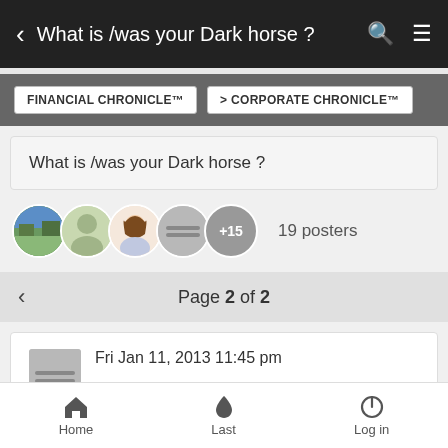< What is /was your Dark horse ?
FINANCIAL CHRONICLE™  > CORPORATE CHRONICLE™
What is /was your Dark horse ?
19 posters
Page 2 of 2
Fri Jan 11, 2013 11:45 pm
Home  Last  Log in